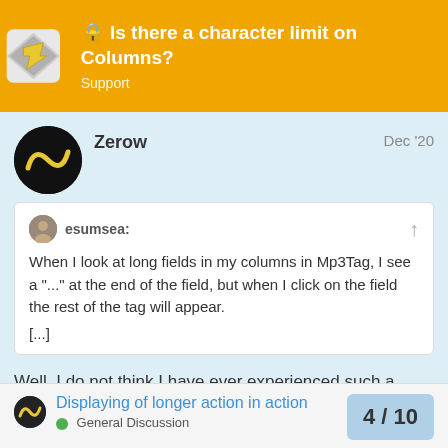Is there a character limit on Columns? — Support
Zerow   Dec '20
esumsea: When I look at long fields in my columns in Mp3Tag, I see a "..." at the end of the field, but when I click on the field the rest of the tag will appear.
[...]
Well, I do not think I have ever experienced such a limitation
But there is this old similar limitation for content of the code of an Action
Displaying of longer action in action   4 / 10
General Discussion